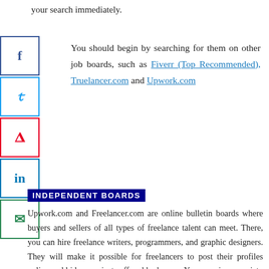your search immediately.
You should begin by searching for them on other job boards, such as Fiverr (Top Recommended), Truelancer.com and Upwork.com
INDEPENDENT BOARDS
Upwork.com and Freelancer.com are online bulletin boards where buyers and sellers of all types of freelance talent can meet. There, you can hire freelance writers, programmers, and graphic designers. They will make it possible for freelancers to post their profiles online and bid on projects offered by buyers. You can view a variety of projects that are up for bid, as well as the profiles of people competing for them. After a job is completed, the buyer rates the individual, so you also have this feedback to assist you to assess whether or not the person is a suitable fit for you.